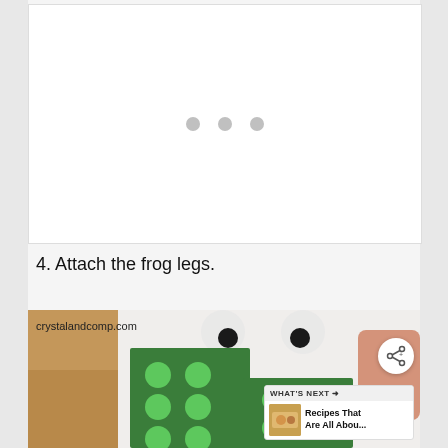[Figure (photo): White area with three grey dots visible, suggesting a loading or carousel placeholder image area]
4. Attach the frog legs.
[Figure (photo): Photo of craft materials showing a green felt piece with bright green circle dot stickers arranged on it, placed on a white background with googly eyes visible above, hand visible at right. Watermark reads crystalandcomp.com. Share button and 'What's Next - Recipes That Are All Abou...' overlay visible.]